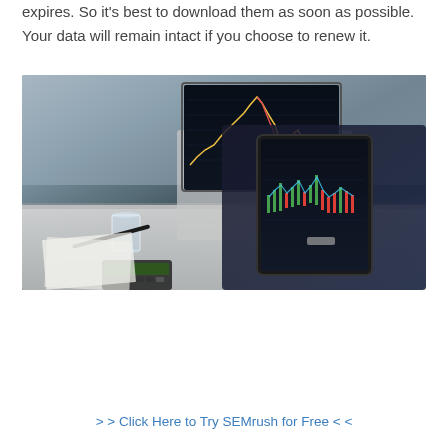expires. So it's best to download them as soon as possible. Your data will remain intact if you choose to renew it.
[Figure (photo): A person in dark clothing holding a tablet displaying financial/stock charts, with a laptop showing candlestick charts in the background, a glass of water, pen, and calculator on a white table.]
> > Click Here to Try SEMrush for Free < <